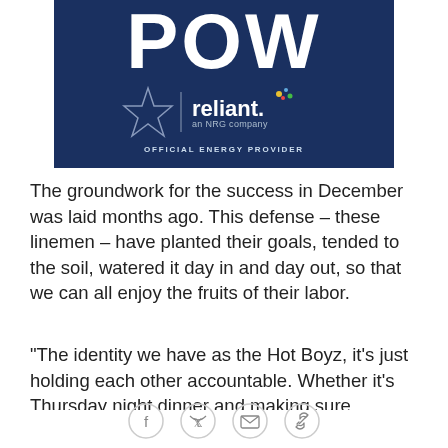[Figure (logo): Dark navy banner with large bold white text 'POW' and Dallas Cowboys star logo next to Reliant energy logo with text 'an NRG company' and 'OFFICIAL ENERGY PROVIDER']
The groundwork for the success in December was laid months ago. This defense – these linemen – have planted their goals, tended to the soil, watered it day in and day out, so that we can all enjoy the fruits of their labor.
"The identity we have as the Hot Boyz, it's just holding each other accountable. Whether it's Thursday night dinner and making sure everyone is there no matter what, whether it's making sure I'm in my gap, making
[Figure (infographic): Social sharing icons row: Facebook, Twitter, email/envelope, and link/chain icons in circular outlines]